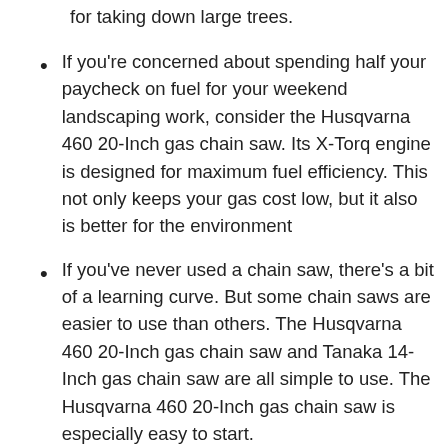for taking down large trees.
If you're concerned about spending half your paycheck on fuel for your weekend landscaping work, consider the Husqvarna 460 20-Inch gas chain saw. Its X-Torq engine is designed for maximum fuel efficiency. This not only keeps your gas cost low, but it also is better for the environment
If you've never used a chain saw, there's a bit of a learning curve. But some chain saws are easier to use than others. The Husqvarna 460 20-Inch gas chain saw and Tanaka 14-Inch gas chain saw are all simple to use. The Husqvarna 460 20-Inch gas chain saw is especially easy to start.
Be prepared to get things set up before you start. As easy as the Husqvarna 460 20-Inch gas chain saw is to use, you'll need to make a few adjustments at first to